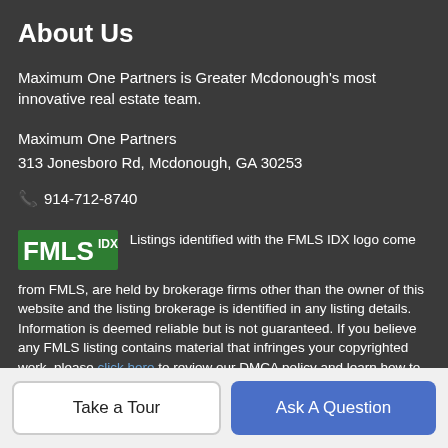About Us
Maximum One Partners is Greater Mcdonough's most innovative real estate team.
Maximum One Partners
313 Jonesboro Rd, Mcdonough, GA 30253
☎ 914-712-8740
[Figure (logo): FMLS IDX logo — green rectangle with white 'FMLS' text and 'IDX' superscript]
Listings identified with the FMLS IDX logo come from FMLS, are held by brokerage firms other than the owner of this website and the listing brokerage is identified in any listing details. Information is deemed reliable but is not guaranteed. If you believe any FMLS listing contains material that infringes your copyrighted work, please click here to review our DMCA policy and learn how to submit a takedown request. © 2022 First Multiple
Take a Tour | Ask A Question